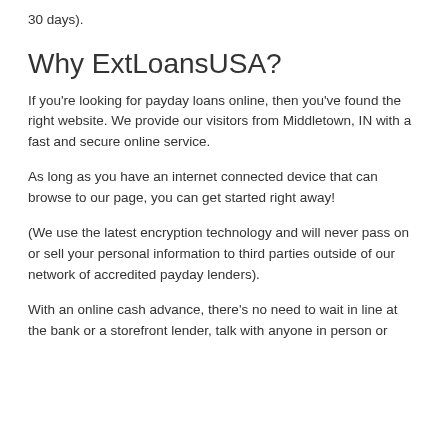30 days).
Why ExtLoansUSA?
If you're looking for payday loans online, then you've found the right website. We provide our visitors from Middletown, IN with a fast and secure online service.
As long as you have an internet connected device that can browse to our page, you can get started right away!
(We use the latest encryption technology and will never pass on or sell your personal information to third parties outside of our network of accredited payday lenders).
With an online cash advance, there's no need to wait in line at the bank or a storefront lender, talk with anyone in person or